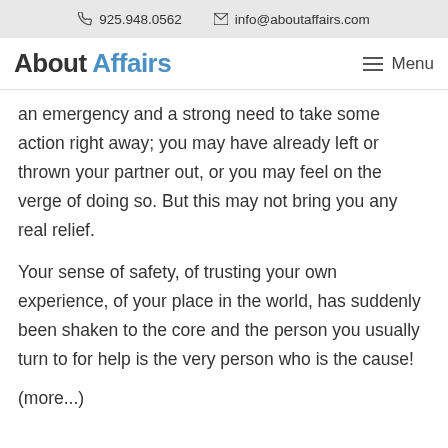925.948.0562   info@aboutaffairs.com
About Affairs
an emergency and a strong need to take some action right away; you may have already left or thrown your partner out, or you may feel on the verge of doing so. But this may not bring you any real relief.
Your sense of safety, of trusting your own experience, of your place in the world, has suddenly been shaken to the core and the person you usually turn to for help is the very person who is the cause!
(more...)